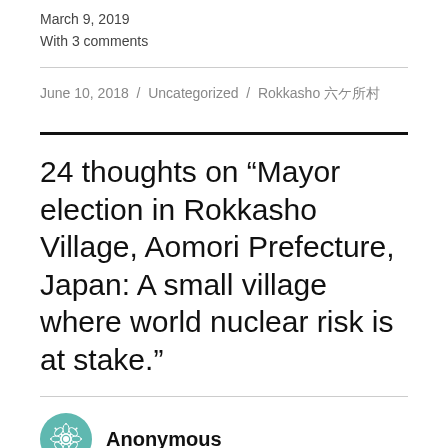March 9, 2019
With 3 comments
June 10, 2018 / Uncategorized / Rokkasho 六ケ所村
24 thoughts on “Mayor election in Rokkasho Village, Aomori Prefecture, Japan: A small village where world nuclear risk is at stake.”
Anonymous
June 14, 2018 at 8:08 pm